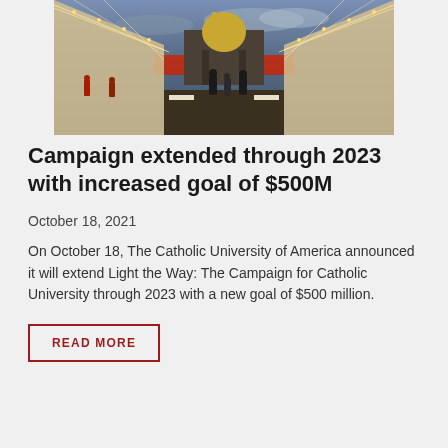[Figure (photo): Outdoor evening event with tent structures and string lights, gothic university building with dome visible in background]
Campaign extended through 2023 with increased goal of $500M
October 18, 2021
On October 18, The Catholic University of America announced it will extend Light the Way: The Campaign for Catholic University through 2023 with a new goal of $500 million.
READ MORE